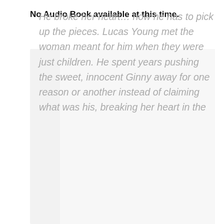No Audio Book available at this time.
He broke her heart… now he has to pick up the pieces. Lucas Young met the woman meant for him when they were just children. He spent years pushing the sweet, innocent Ginny away for one reason or another instead of claiming what was his, breaking her heart in the